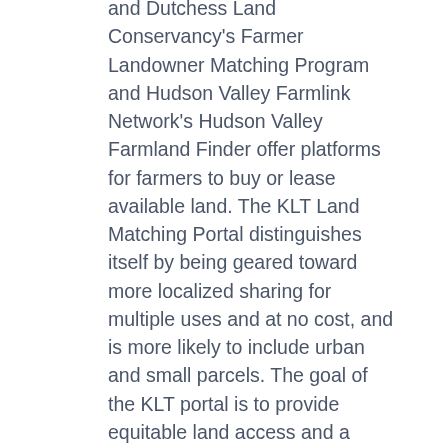and Dutchess Land Conservancy's Farmer Landowner Matching Program and Hudson Valley Farmlink Network's Hudson Valley Farmland Finder offer platforms for farmers to buy or lease available land. The KLT Land Matching Portal distinguishes itself by being geared toward more localized sharing for multiple uses and at no cost, and is more likely to include urban and small parcels. The goal of the KLT portal is to provide equitable land access and a more connected community, as well as to foster beautification, productivity and ecological integrity of land in and around Kingston.
This portal was developed in response to consistent inquiries from community members who had heard about the KLT's South Pine Street Farm and were seeking additional land available for urban farming. The KLT's South Pine Street Farm, founded in 2010, is in fact the original land